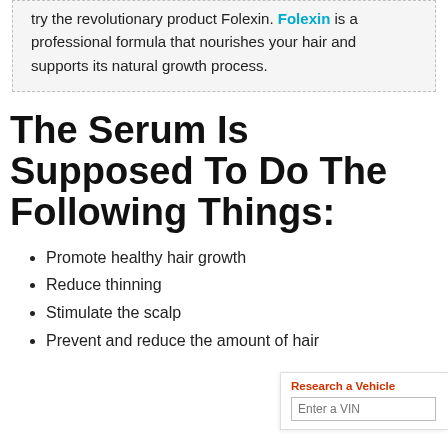try the revolutionary product Folexin. Folexin is a professional formula that nourishes your hair and supports its natural growth process.
The Serum Is Supposed To Do The Following Things:
Promote healthy hair growth
Reduce thinning
Stimulate the scalp
Prevent and reduce the amount of hair